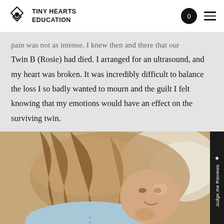TINY HEARTS EDUCATION
pain was not as intense. I knew then and there that our Twin B (Rosie) had died. I arranged for an ultrasound, and my heart was broken. It was incredibly difficult to balance the loss I so badly wanted to mourn and the guilt I felt knowing that my emotions would have an effect on the surviving twin.
[Figure (photo): A young woman with long blonde hair lying down, wearing a light blue shirt, smiling at the camera. She appears relaxed, resting on what looks like a bed or couch with a light background.]